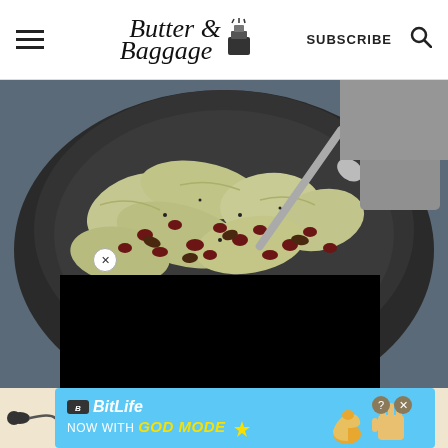Butter & Baggage — SUBSCRIBE
[Figure (photo): Sautéed cabbage with dried cranberries and pecans in a dark skillet, with a spoon. Partially covered by a black overlay box. Side buttons show 62 saves, heart/favorite icon, and red search icon.]
[Figure (infographic): BitLife ad banner: 'NOW WITH GOD MODE' on a blue background with a lightning bolt, thumb pointing up, and hand icons. Includes question mark and close (X) buttons.]